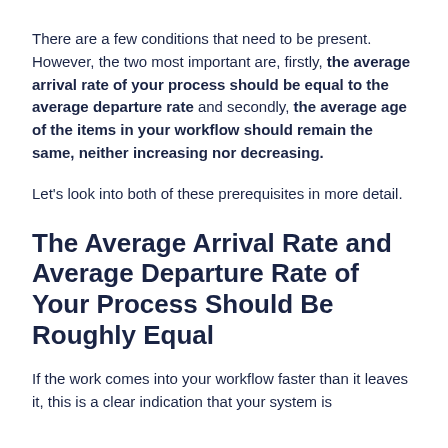There are a few conditions that need to be present. However, the two most important are, firstly, the average arrival rate of your process should be equal to the average departure rate and secondly, the average age of the items in your workflow should remain the same, neither increasing nor decreasing.
Let's look into both of these prerequisites in more detail.
The Average Arrival Rate and Average Departure Rate of Your Process Should Be Roughly Equal
If the work comes into your workflow faster than it leaves it, this is a clear indication that your system is